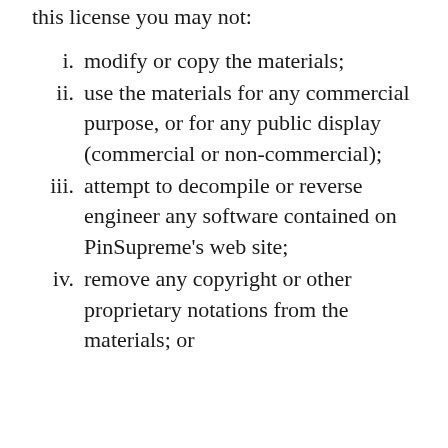this license you may not:
i. modify or copy the materials;
ii. use the materials for any commercial purpose, or for any public display (commercial or non-commercial);
iii. attempt to decompile or reverse engineer any software contained on PinSupreme’s web site;
iv. remove any copyright or other proprietary notations from the materials; or